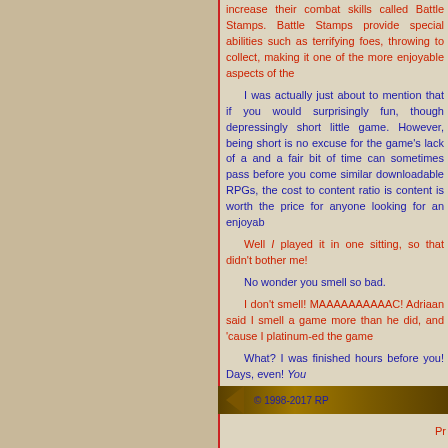increase their combat skills called Battle Stamps. Battle Stamps provide special abilities such as terrifying foes, throwing to collect, making it one of the more enjoyable aspects of the
I was actually just about to mention that if you would surprisingly fun, though depressingly short little game. However, being short is no excuse for the game's lack of a and a fair bit of time can sometimes pass before you come similar downloadable RPGs, the cost to content ratio is content is worth the price for anyone looking for an enjoyable
Well I played it in one sitting, so that didn't bother me!
No wonder you smell so bad.
I don't smell! MAAAAAAAAAAC! Adriaan said I smell a game more than he did, and 'cause I platinum-ed the game
What? I was finished hours before you! Days, even! You
Nuh uh! Anyway, if Adriaan would stop interrupting me b charm and quirk make this game a must-play, even if it has
Get out of my review!
Make me!
Rev
© 1998-2017 RP
Pr